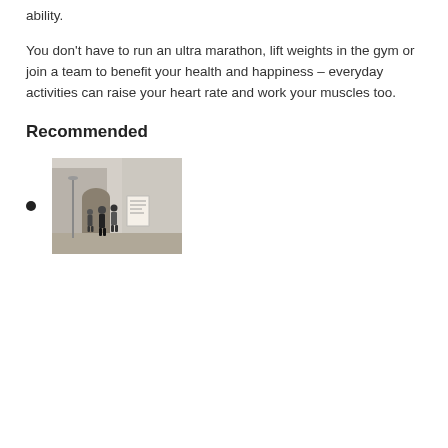ability.
You don't have to run an ultra marathon, lift weights in the gym or join a team to benefit your health and happiness – everyday activities can raise your heart rate and work your muscles too.
Recommended
[Figure (photo): People walking on a street near a building, with a sign visible in the background.]